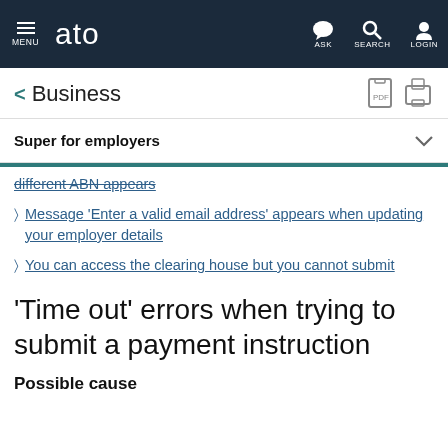MENU | ato | ASK | SEARCH | LOGIN
< Business
Super for employers
different ABN appears
Message 'Enter a valid email address' appears when updating your employer details
You can access the clearing house but you cannot submit
'Time out' errors when trying to submit a payment instruction
Possible cause